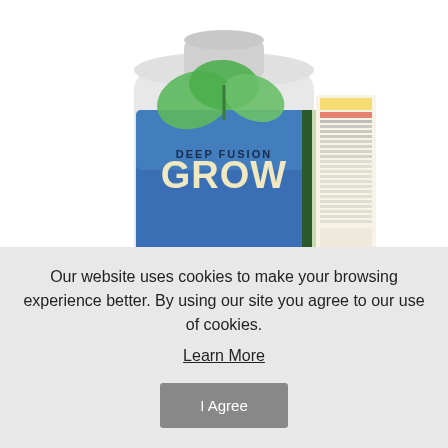[Figure (photo): Product photo of Deep Fusion Grow fertilizer bottle, a white plastic container with a blue label featuring green leaves and the text DEEP FUSION GROW]
Price:	$103.93
SKU:	ETDFGS-2.5ga
Quantity:
Our website uses cookies to make your browsing experience better. By using our site you agree to our use of cookies.
Learn More
I Agree